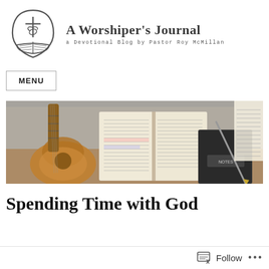[Figure (logo): A Worshiper's Journal logo — shield/teardrop shape with cross and dove above an open Bible]
A Worshiper's Journal
a Devotional Blog by Pastor Roy McMillan
MENU
[Figure (photo): Photo of an open Bible, a guitar, and a notebook with a pen on a wooden surface]
Spending Time with God
Follow ...